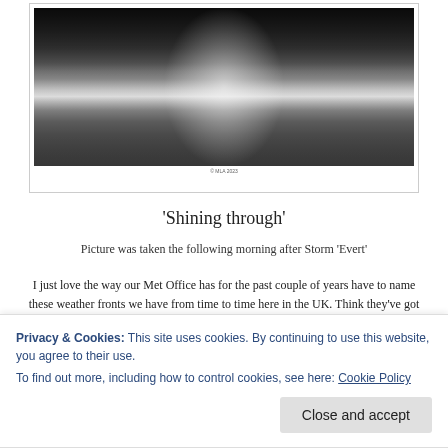[Figure (photo): Black and white photograph of a seascape. Dramatic dark storm clouds fill the upper portion. Light breaks through the clouds and reflects on the calm ocean water below, creating a bright vertical streak on the water's surface.]
© MLA 2023
'Shining through'
Picture was taken the following morning after Storm 'Evert'
I just love the way our Met Office has for the past couple of years have to name these weather fronts we have from time to time here in the UK. Think they've got jealous of the United States and other parts of the world with
Privacy & Cookies: This site uses cookies. By continuing to use this website, you agree to their use.
To find out more, including how to control cookies, see here: Cookie Policy